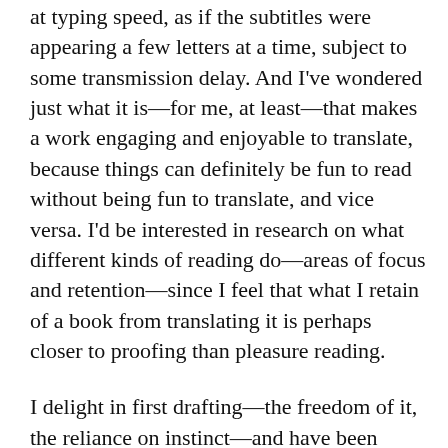at typing speed, as if the subtitles were appearing a few letters at a time, subject to some transmission delay. And I've wondered just what it is—for me, at least—that makes a work engaging and enjoyable to translate, because things can definitely be fun to read without being fun to translate, and vice versa. I'd be interested in research on what different kinds of reading do—areas of focus and retention—since I feel that what I retain of a book from translating it is perhaps closer to proofing than pleasure reading.
I delight in first drafting—the freedom of it, the reliance on instinct—and have been known to drag my feet over revisions. Mainly out of fear, I think, that I will become mired in indecision and make things worse rather than better. Because once I hit a point where I'm convinced the revision is improving things, rather than just moving them pointlessly around, I'll stick with it no matter how painstaking.